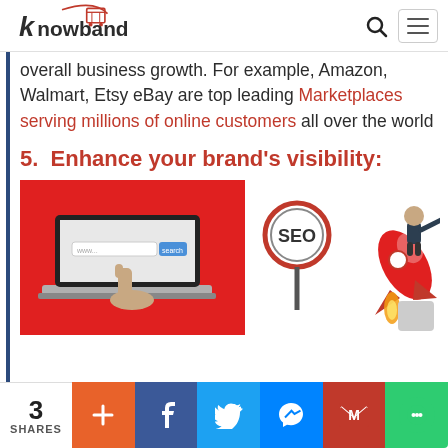Knowband logo, search icon, hamburger menu
overall business growth. For example, Amazon, Walmart, Etsy eBay are top leading Marketplaces serving millions of online customers all over the world
5. Enhance your brand's visibility:
[Figure (illustration): Split illustration: left side shows a laptop with a search bar on a red background; right side shows an SEO sign and a businessman riding a rocket upward.]
3 SHARES | + | f | Twitter bird | Messenger | Gmail M | Chat bubble